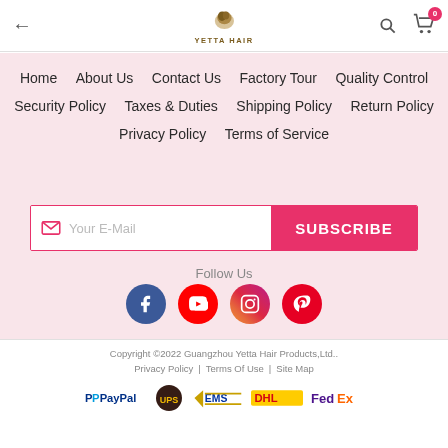← YETTA HAIR [logo] [search] [cart 0]
Home   About Us   Contact Us   Factory Tour   Quality Control
Security Policy   Taxes & Duties   Shipping Policy   Return Policy
Privacy Policy   Terms of Service
Your E-Mail  SUBSCRIBE
Follow Us
[Figure (illustration): Four social media icons in circles: Facebook (blue), YouTube (red), Instagram (gradient purple/orange), Pinterest (red)]
Copyright ©2022 Guangzhou Yetta Hair Products,Ltd..
Privacy Policy  |  Terms Of Use  |  Site Map
[Figure (logo): Payment method logos: PayPal, UPS, EMS, DHL, FedEx]